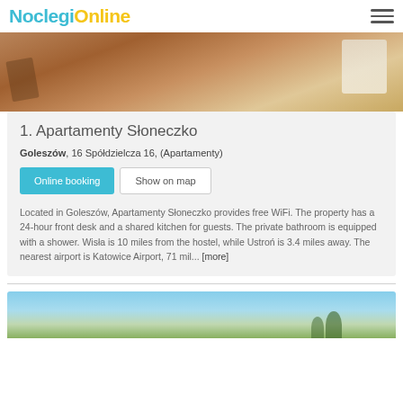NoclegiOnline
[Figure (photo): Interior room photo showing wooden furniture and a white object]
1. Apartamenty Słoneczko
Goleszów, 16 Spółdzielcza 16, (Apartamenty)
Online booking | Show on map
Located in Goleszów, Apartamenty Słoneczko provides free WiFi. The property has a 24-hour front desk and a shared kitchen for guests. The private bathroom is equipped with a shower. Wisła is 10 miles from the hostel, while Ustroń is 3.4 miles away. The nearest airport is Katowice Airport, 71 mil... [more]
[Figure (photo): Exterior photo of a building with blue sky and trees]